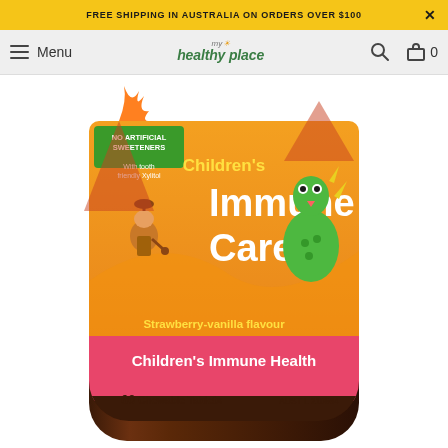FREE SHIPPING IN AUSTRALIA ON ORDERS OVER $100
[Figure (screenshot): Website navigation bar with hamburger menu icon, 'Menu' text, 'my healthy place' logo in center, search icon and cart icon (0 items) on right]
[Figure (photo): Children's Immune Care supplement bottle by My Healthy Place. Orange label with cartoon dinosaur and caveman characters. Text reads: No Artificial Sweeteners, With tooth friendly Xylitol, Children's Immune Care, Strawberry-vanilla flavour, Children's Immune Health, 60 Chewable Tablets, AUST L 210564. Pink band at bottom of label.]